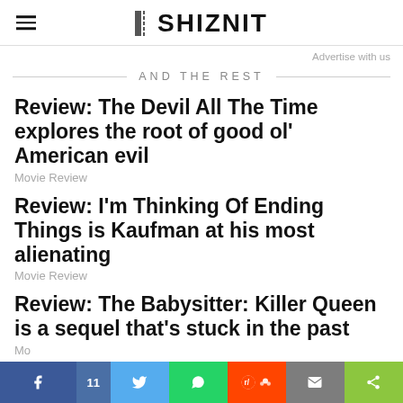THE SHIZNIT
Advertise with us
AND THE REST
Review: The Devil All The Time explores the root of good ol' American evil
Movie Review
Review: I'm Thinking Of Ending Things is Kaufman at his most alienating
Movie Review
Review: The Babysitter: Killer Queen is a sequel that's stuck in the past
Movie Review